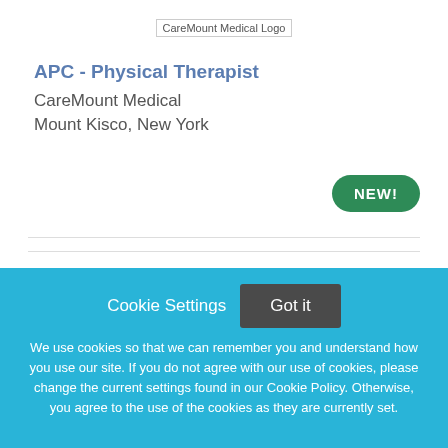[Figure (logo): CareMount Medical Logo — broken image placeholder with alt text]
APC - Physical Therapist
CareMount Medical
Mount Kisco, New York
NEW!
Cookie Settings
Got it
We use cookies so that we can remember you and understand how you use our site. If you do not agree with our use of cookies, please change the current settings found in our Cookie Policy. Otherwise, you agree to the use of the cookies as they are currently set.